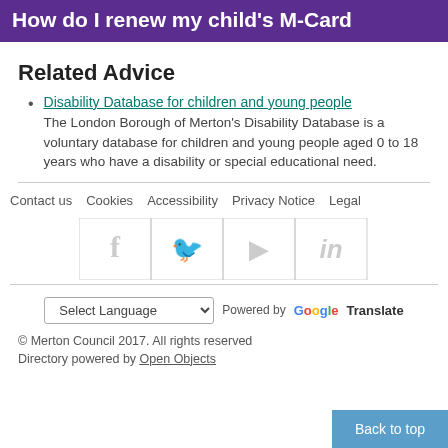How do I renew my child's M-Card
Related Advice
Disability Database for children and young people
The London Borough of Merton's Disability Database is a voluntary database for children and young people aged 0 to 18 years who have a disability or special educational need.
Contact us   Cookies   Accessibility   Privacy Notice   Legal
[Figure (infographic): Row of social media icons: Facebook (f), Twitter (bird), YouTube (play button), LinkedIn (in), each in a bordered cell with light grey color]
Select Language  Powered by Google Translate
© Merton Council 2017. All rights reserved
Directory powered by Open Objects
Back to top